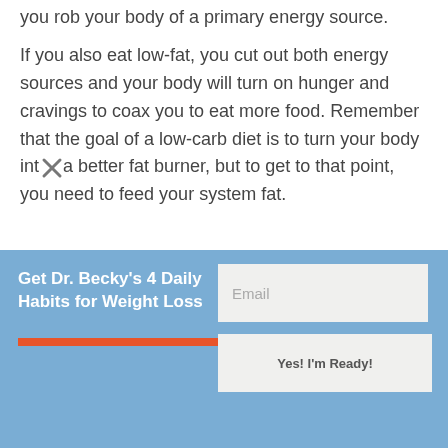you rob your body of a primary energy source.
If you also eat low-fat, you cut out both energy sources and your body will turn on hunger and cravings to coax you to eat more food. Remember that the goal of a low-carb diet is to turn your body into a better fat burner, but to get to that point, you need to feed your system fat.
Get Dr. Becky's 4 Daily Habits for Weight Loss